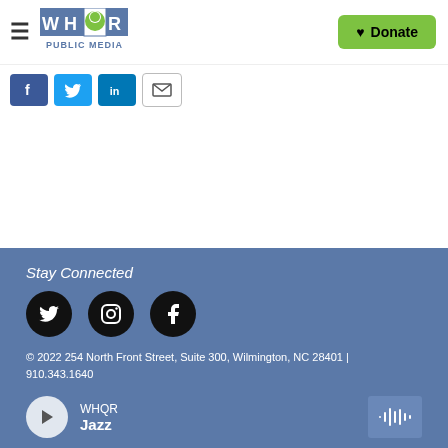WHQR PUBLIC MEDIA — Donate
[Figure (logo): WHQR Public Media logo with green tree icon]
[Figure (other): Social share buttons: Facebook, Twitter, LinkedIn, Email]
Stay Connected
[Figure (other): Social media icons: Twitter, Instagram, Facebook (black circles)]
© 2022 254 North Front Street, Suite 300, Wilmington, NC 28401 | 910.343.1640
WHQR Jazz — audio player bar